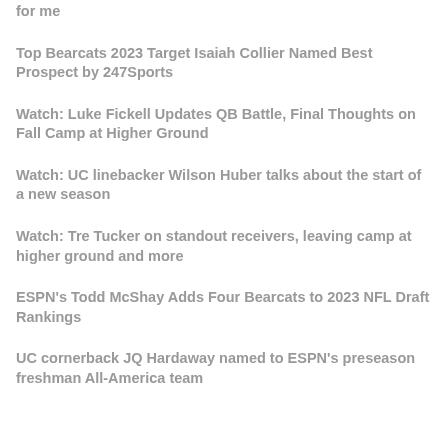for me
Top Bearcats 2023 Target Isaiah Collier Named Best Prospect by 247Sports
Watch: Luke Fickell Updates QB Battle, Final Thoughts on Fall Camp at Higher Ground
Watch: UC linebacker Wilson Huber talks about the start of a new season
Watch: Tre Tucker on standout receivers, leaving camp at higher ground and more
ESPN's Todd McShay Adds Four Bearcats to 2023 NFL Draft Rankings
UC cornerback JQ Hardaway named to ESPN's preseason freshman All-America team